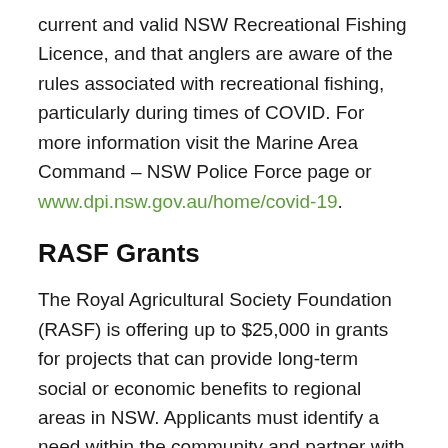current and valid NSW Recreational Fishing Licence, and that anglers are aware of the rules associated with recreational fishing, particularly during times of COVID. For more information visit the Marine Area Command – NSW Police Force page or www.dpi.nsw.gov.au/home/covid-19.
RASF Grants
The Royal Agricultural Society Foundation (RASF) is offering up to $25,000 in grants for projects that can provide long-term social or economic benefits to regional areas in NSW. Applicants must identify a need within the community and partner with a local community organisation to be eligible, before creating a clear plan that outlines how they intend to complete the project. Previous projects range from rebuilding areas of